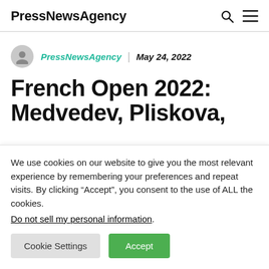PressNewsAgency
PressNewsAgency | May 24, 2022
French Open 2022: Medvedev, Pliskova,
We use cookies on our website to give you the most relevant experience by remembering your preferences and repeat visits. By clicking “Accept”, you consent to the use of ALL the cookies. Do not sell my personal information.